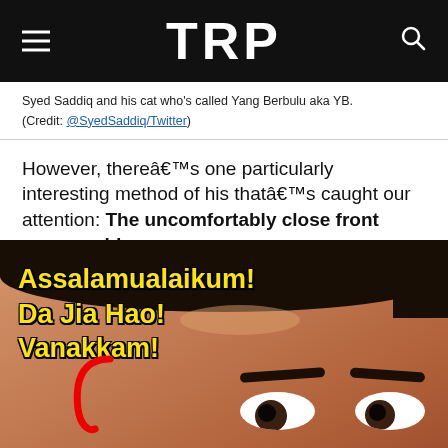TRP
Syed Saddiq and his cat who's called Yang Berbulu aka YB. (Credit: @SyedSaddiq/Twitter)
However, thereâ€™s one particularly interesting method of his thatâ€™s caught our attention: The uncomfortably close front camera videos.
[Figure (photo): Close-up front camera video screenshot of a young man's face with text overlay reading 'Assalamualaikum! Da Jia Hao! Vanakkam!' in bold yellow text with black outline, and a red curved arrow on the left side.]